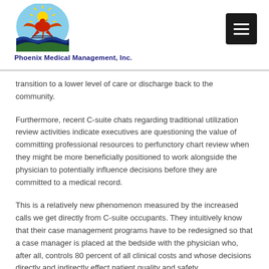[Figure (logo): Phoenix Medical Management, Inc. logo — bird/phoenix with sun rays over water, circular emblem with blue, green, red and yellow colors]
Phoenix Medical Management, Inc.
transition to a lower level of care or discharge back to the community.
Furthermore, recent C-suite chats regarding traditional utilization review activities indicate executives are questioning the value of committing professional resources to perfunctory chart review when they might be more beneficially positioned to work alongside the physician to potentially influence decisions before they are committed to a medical record.
This is a relatively new phenomenon measured by the increased calls we get directly from C-suite occupants. They intuitively know that their case management programs have to be redesigned so that a case manager is placed at the bedside with the physician who, after all, controls 80 percent of all clinical costs and whose decisions directly and indirectly effect patient quality and safety.